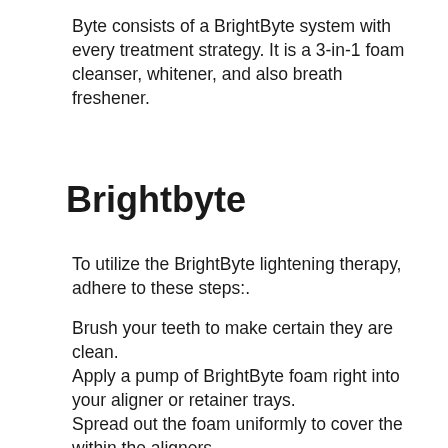Byte consists of a BrightByte system with every treatment strategy. It is a 3-in-1 foam cleanser, whitener, and also breath freshener.
Brightbyte
To utilize the BrightByte lightening therapy, adhere to these steps:.
Brush your teeth to make certain they are clean.
Apply a pump of BrightByte foam right into your aligner or retainer trays.
Spread out the foam uniformly to cover the within the aligners.
Place the aligners over your teeth as well as get about your day.